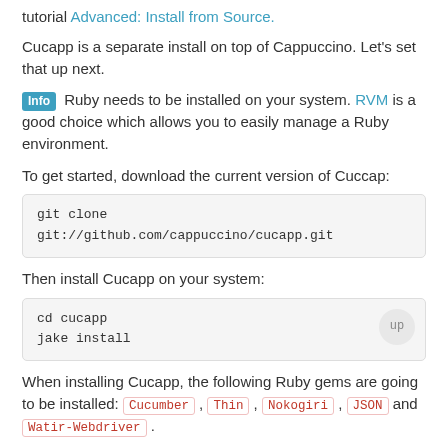tutorial Advanced: Install from Source.
Cucapp is a separate install on top of Cappuccino. Let’s set that up next.
Info Ruby needs to be installed on your system. RVM is a good choice which allows you to easily manage a Ruby environment.
To get started, download the current version of Cuccap:
Then install Cucapp on your system:
When installing Cucapp, the following Ruby gems are going to be installed: Cucumber , Thin , Nokogiri , JSON and Watir-Webdriver .
Info Nokogiri can be painful to install on El Capitan. You can find help here.
Verify that you have the cucapp command in your PATH :